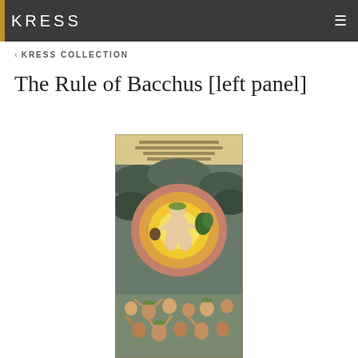KRESS
< KRESS COLLECTION
The Rule of Bacchus [left panel]
[Figure (illustration): A painting depicting the Rule of Bacchus (left panel). A central figure of Bacchus sits within a golden radiant halo/arch, wearing a wreath, holding a vessel and a branch with green foliage. Dark stormy clouds surround the arch. Below, a crowd of figures with wreaths celebrate in a frenzied manner.]